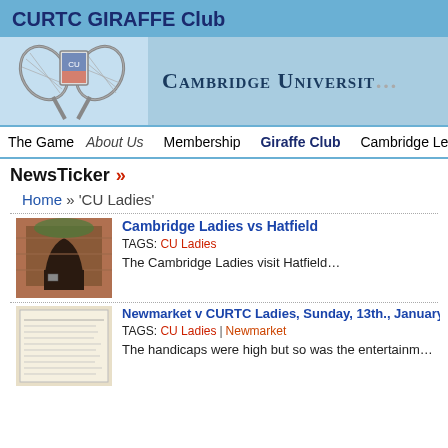CURTC GIRAFFE Club
[Figure (logo): Cambridge University Real Tennis Club logo with crossed rackets and university crest, alongside text 'Cambridge Universit...']
The Game | About Us | Membership | Giraffe Club | Cambridge Leagues | Video
NewsTicker »
Home » 'CU Ladies'
[Figure (photo): Photo of an old wooden arched doorway in a brick building]
Cambridge Ladies vs Hatfield
TAGS: CU Ladies
The Cambridge Ladies visit Hatfield…
[Figure (photo): Photo of a handwritten or typed scorecard/document]
Newmarket v CURTC Ladies, Sunday, 13th., January,
TAGS: CU Ladies | Newmarket
The handicaps were high but so was the entertainm...